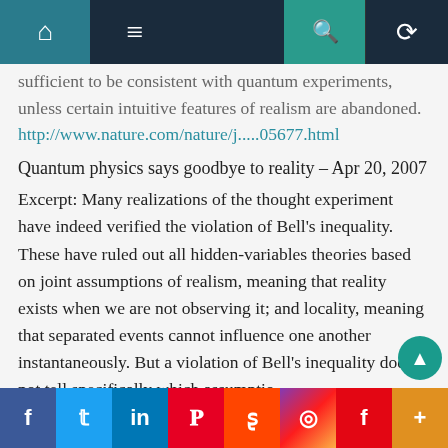Navigation bar with home, menu, search, and random icons
sufficient to be consistent with quantum experiments, unless certain intuitive features of realism are abandoned.
http://www.nature.com/nature/j.....05677.html
Quantum physics says goodbye to reality – Apr 20, 2007
Excerpt: Many realizations of the thought experiment have indeed verified the violation of Bell's inequality. These have ruled out all hidden-variables theories based on joint assumptions of realism, meaning that reality exists when we are not observing it; and locality, meaning that separated events cannot influence one another instantaneously. But a violation of Bell's inequality does not tell specifically which assumptio
Social sharing bar: Facebook, Twitter, LinkedIn, Pinterest, Reddit, Instagram, Flipboard, More